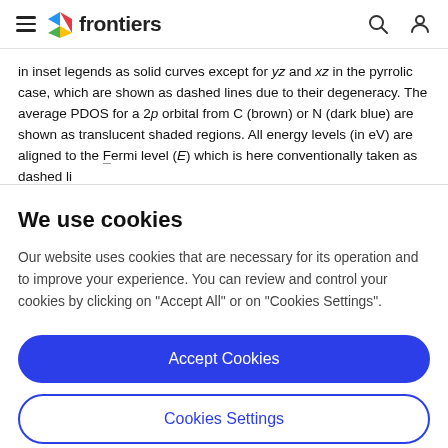frontiers
in inset legends as solid curves except for yz and xz in the pyrrolic case, which are shown as dashed lines due to their degeneracy. The average PDOS for a 2p orbital from C (brown) or N (dark blue) are shown as translucent shaded regions. All energy levels (in eV) are aligned to the Fermi level (E) which is here conventionally taken as...
We use cookies
Our website uses cookies that are necessary for its operation and to improve your experience. You can review and control your cookies by clicking on "Accept All" or on "Cookies Settings".
Accept Cookies
Cookies Settings